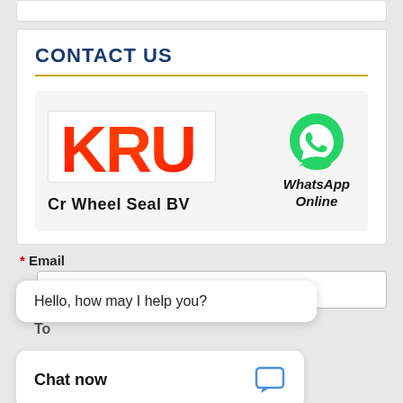CONTACT US
[Figure (logo): KRU company logo in red/orange with star]
Cr Wheel Seal BV
[Figure (logo): WhatsApp green phone icon with text WhatsApp Online]
* Email
Please Enter your Email Address
Hello, how may I help you?
Chat now